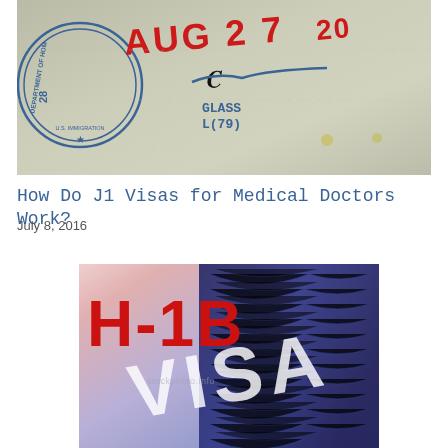[Figure (photo): A close-up photo of a passport page showing a Department of Homeland Security entry stamp dated AUG 27 with a blue circular stamp, a handwritten signature, a blue line, and class/number notation.]
How Do J1 Visas for Medical Doctors Work?
July 8, 2016
[Figure (photo): A photo of a US visa document overlaid with large red bold text reading 'H-1B' in the upper left, and the word 'VISA' in large white letters across a dark blue ornate visa background with a watermark.]